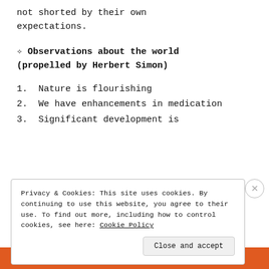not shorted by their own expectations.
❧ Observations about the world (propelled by Herbert Simon)
1. Nature is flourishing
2. We have enhancements in medication
3. Significant development is
Privacy & Cookies: This site uses cookies. By continuing to use this website, you agree to their use. To find out more, including how to control cookies, see here: Cookie Policy
Close and accept